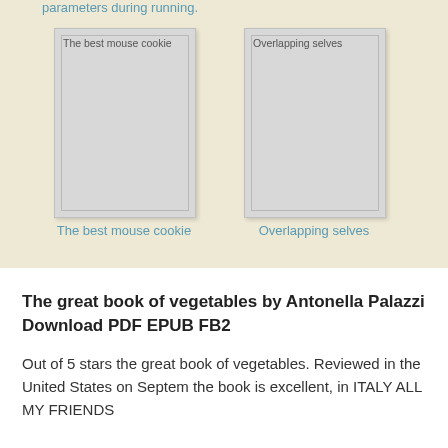parameters during running.
[Figure (illustration): Book cover placeholder showing 'The best mouse cookie' with gray background]
The best mouse cookie
[Figure (illustration): Book cover placeholder showing 'Overlapping selves' with gray background]
Overlapping selves
The great book of vegetables by Antonella Palazzi Download PDF EPUB FB2
Out of 5 stars the great book of vegetables. Reviewed in the United States on Septem the book is excellent, in ITALY ALL MY FRIENDS